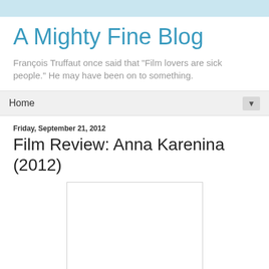A Mighty Fine Blog
François Truffaut once said that "Film lovers are sick people." He may have been on to something.
Home
Friday, September 21, 2012
Film Review: Anna Karenina (2012)
[Figure (photo): White rectangular image placeholder for Anna Karenina (2012) film review post]